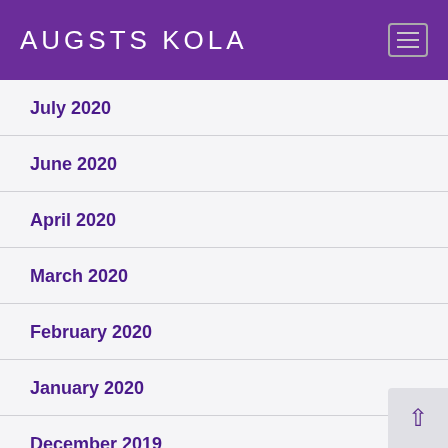AUGSTS KOLA
July 2020
June 2020
April 2020
March 2020
February 2020
January 2020
December 2019